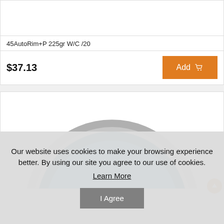45AutoRim+P 225gr W/C /20
$37.13
Add
[Figure (photo): Circular tin/canister with blue label reading 'A SALVE - BLANK', with gray metallic rim, partially visible]
Our website uses cookies to make your browsing experience better. By using our site you agree to our use of cookies.
Learn More
I Agree